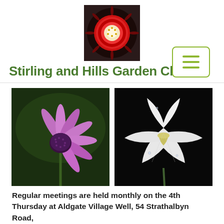[Figure (logo): Close-up photo of a red and white flower with spiky petals, used as the garden club logo]
Stirling and Hills Garden Club
[Figure (other): Hamburger menu icon inside a rounded square border in olive/lime green]
[Figure (photo): Close-up photo of a purple coneflower (Echinacea) against a dark green background]
[Figure (photo): Close-up photo of a white iris flower against a black background]
Regular meetings are held monthly on the 4th Thursday at Aldgate Village Well, 54 Strathalbyn Road,